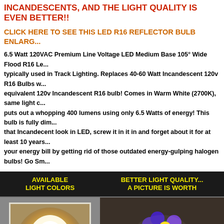INCANDESCENTS, AND THE LIGHT QUALITY IS EVEN BETTER!!
CLICK HERE TO SEE THIS LED R16 REFLECTOR BULB ENLARGED
6.5 Watt 120VAC Premium Line Voltage LED Medium Base 105° Wide Flood R16 Le... typically used in Track Lighting. Replaces 40-60 Watt Incandescent 120v R16 Bulbs w... equivalent 120v Incandescent R16 bulb! Comes in Warm White (2700K), same light c... puts out a whopping 400 lumens using only 6.5 Watts of energy! This bulb is fully dim... that Incandecent look in LED, screw it in it in and forget about it for at least 10 years... your energy bill by getting rid of those outdated energy-gulping halogen bulbs! Go Sm...
[Figure (infographic): Two-panel product display. Left panel: black header reading AVAILABLE LIGHT COLORS in yellow, below gray background with a warm white glowing light bulb photo in a white-bordered frame, labeled WARM WHITE (2700K) below. Right panel: black header reading BETTER LIGHT QUALITY... A PICTURE IS WORTH in yellow, below dark background showing a colorful flower arrangement photo.]